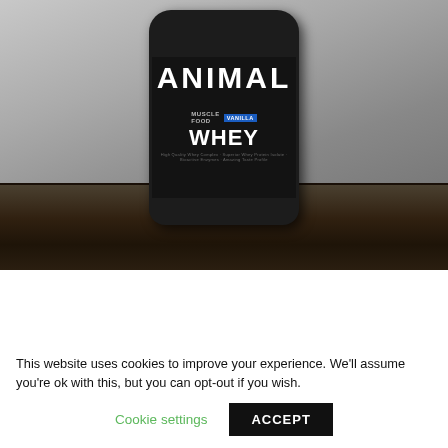[Figure (photo): Black and white photo of an Animal Whey Muscle Food Vanilla protein powder tub sitting on a wooden surface. The dark container has bold white 'ANIMAL' text across the top and 'WHEY' in large letters on the label, with a blue 'VANILLA' badge.]
This website uses cookies to improve your experience. We'll assume you're ok with this, but you can opt-out if you wish.
Cookie settings
ACCEPT